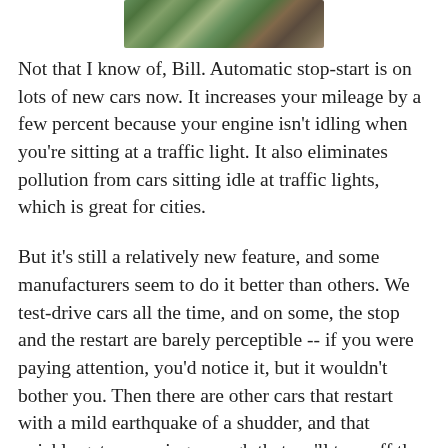[Figure (illustration): Partial illustration of a peacock or bird with colorful feathers, cropped at top of page]
Not that I know of, Bill. Automatic stop-start is on lots of new cars now. It increases your mileage by a few percent because your engine isn't idling when you're sitting at a traffic light. It also eliminates pollution from cars sitting idle at traffic lights, which is great for cities.
But it's still a relatively new feature, and some manufacturers seem to do it better than others. We test-drive cars all the time, and on some, the stop and the restart are barely perceptible -- if you were paying attention, you'd notice it, but it wouldn't bother you. Then there are other cars that restart with a mild earthquake of a shudder, and that quickly gets annoying enough that we'll turn off the feature.
I'm not sure what factors make some cars entirely acceptable and others not. But I suspect they include